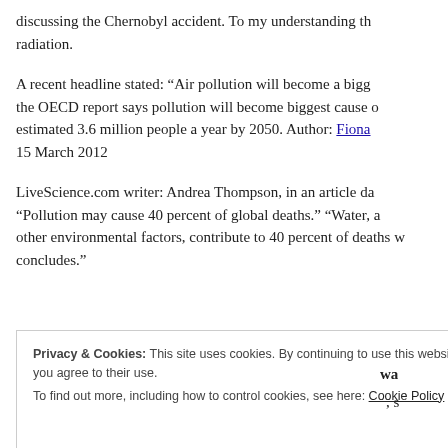discussing the Chernobyl accident. To my understanding th radiation.
A recent headline stated: “Air pollution will become a bigg the OECD report says pollution will become biggest cause o estimated 3.6 million people a year by 2050. Author: Fiona 15 March 2012
LiveScience.com writer: Andrea Thompson, in an article da “Pollution may cause 40 percent of global deaths.” “Water, a other environmental factors, contribute to 40 percent of deaths w concludes.”
Privacy & Cookies: This site uses cookies. By continuing to use this website, you agree to their use.
To find out more, including how to control cookies, see here: Cookie Policy